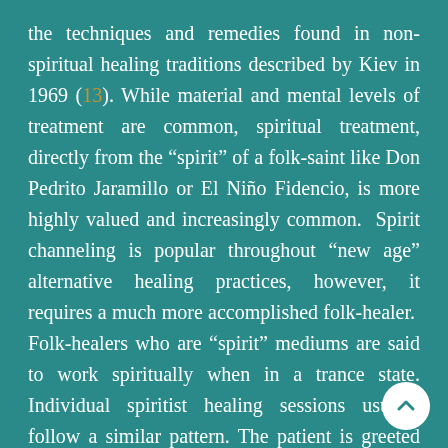the techniques and remedies found in non-spiritual healing traditions described by Kiev in 1969 (13). While material and mental levels of treatment are common, spiritual treatment, directly from the “spirit” of a folk-saint like Don Pedrito Jaramillo or El Niño Fidencio, is more highly valued and increasingly common.  Spirit channeling is popular throughout “new age” alternative healing practices, however, it requires a much more accomplished folk-healer.  Folk-healers who are “spirit” mediums are said to work spiritually when in a trance state. Individual spiritist healing sessions usually follow a similar pattern. The patient is greeted by the spirit and returns the salutation. The initial greeting is followed by a personal discussion with the spirit about the person’s problem.  In physical ailments, the spirit working through the healer immediately approaches the problem using a combination of techniques. These include massage, limpias or ritual sweepings and in serious cases, “spiritual surgery.” A recent